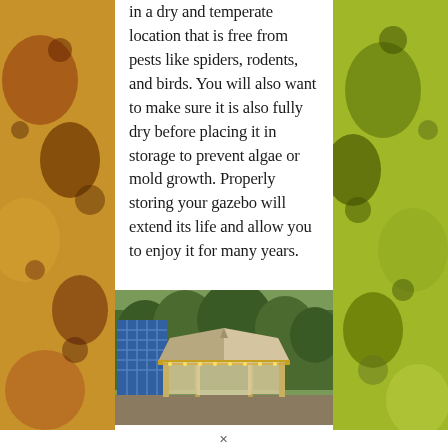in a dry and temperate location that is free from pests like spiders, rodents, and birds. You will also want to make sure it is also fully dry before placing it in storage to prevent algae or mold growth. Properly storing your gazebo will extend its life and allow you to enjoy it for many years.
[Figure (photo): A decorated gazebo with a tan/beige canopy top, curtain side panels, and string lights, set against a backdrop of trees and a decorative lattice screen.]